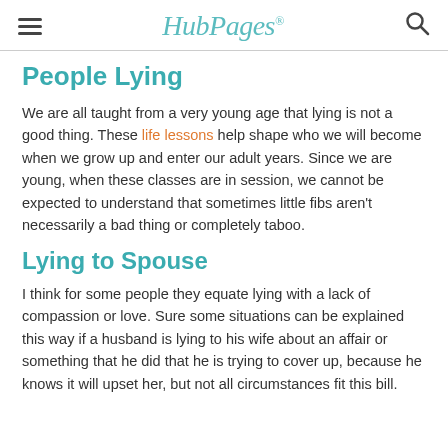HubPages
People Lying
We are all taught from a very young age that lying is not a good thing. These life lessons help shape who we will become when we grow up and enter our adult years. Since we are young, when these classes are in session, we cannot be expected to understand that sometimes little fibs aren't necessarily a bad thing or completely taboo.
Lying to Spouse
I think for some people they equate lying with a lack of compassion or love. Sure some situations can be explained this way if a husband is lying to his wife about an affair or something that he did that he is trying to cover up, because he knows it will upset her, but not all circumstances fit this bill.